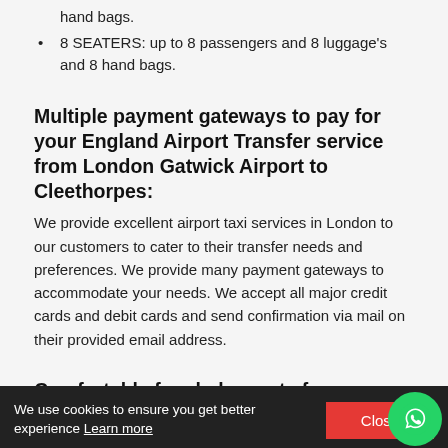hand bags.
8 SEATERS: up to 8 passengers and 8 luggage's and 8 hand bags.
Multiple payment gateways to pay for your England Airport Transfer service from London Gatwick Airport to Cleethorpes:
We provide excellent airport taxi services in London to our customers to cater to their transfer needs and preferences. We provide many payment gateways to accommodate your needs. We accept all major credit cards and debit cards and send confirmation via mail on their provided email address.
Comfortable free baby seats for your England Airport Transfer service from London Gatwick Airport to Cleethorpes
We also provide comfortable baby seats and booster seats our customers and there are no extra charges
We use cookies to ensure you get better experience Learn more